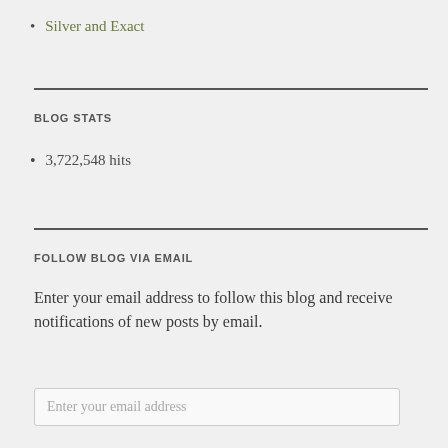Silver and Exact
BLOG STATS
3,722,548 hits
FOLLOW BLOG VIA EMAIL
Enter your email address to follow this blog and receive notifications of new posts by email.
Enter your email address